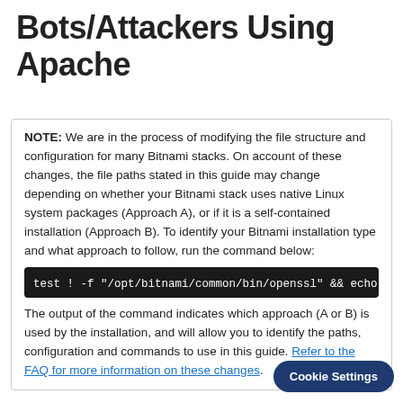Bots/Attackers Using Apache
NOTE: We are in the process of modifying the file structure and configuration for many Bitnami stacks. On account of these changes, the file paths stated in this guide may change depending on whether your Bitnami stack uses native Linux system packages (Approach A), or if it is a self-contained installation (Approach B). To identify your Bitnami installation type and what approach to follow, run the command below:
test ! -f "/opt/bitnami/common/bin/openssl" && echo
The output of the command indicates which approach (A or B) is used by the installation, and will allow you to identify the paths, configuration and commands to use in this guide. Refer to the FAQ for more information on these changes.